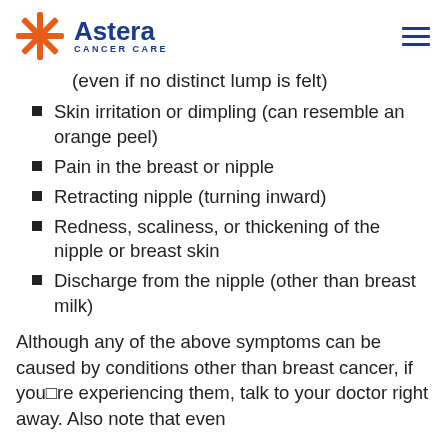Astera Cancer Care
(even if no distinct lump is felt)
Skin irritation or dimpling (can resemble an orange peel)
Pain in the breast or nipple
Retracting nipple (turning inward)
Redness, scaliness, or thickening of the nipple or breast skin
Discharge from the nipple (other than breast milk)
Although any of the above symptoms can be caused by conditions other than breast cancer, if you’re experiencing them, talk to your doctor right away. Also note that even